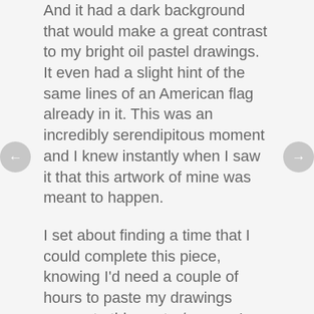And it had a dark background that would make a great contrast to my bright oil pastel drawings. It even had a slight hint of the same lines of an American flag already in it. This was an incredibly serendipitous moment and I knew instantly when I saw it that this artwork of mine was meant to happen.

I set about finding a time that I could complete this piece, knowing I'd need a couple of hours to paste my drawings scraps to this poster/canvas I had discovered. While I was biding my time, I was using my woodless colored pencils at work. When I sharpened them, I noticed how much color was in the shavings. I decided to save the shavings, not really knowing what I was going to do with them, but feeling that they might